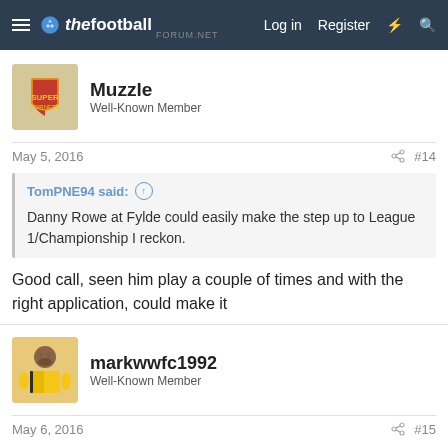thefootballforum.net — Log in  Register
[Figure (logo): thefootballforum.net logo with football icon]
[Figure (photo): Muzzle user avatar - crest/shield badge image]
Muzzle
Well-Known Member
May 5, 2016
#14
TomPNE94 said:
Danny Rowe at Fylde could easily make the step up to League 1/Championship I reckon.
Good call, seen him play a couple of times and with the right application, could make it
[Figure (photo): markwwfc1992 user avatar - man in yellow/black football shirt]
markwwfc1992
Well-Known Member
May 6, 2016
#15